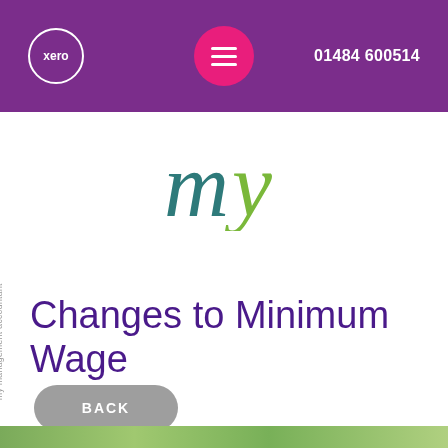xero  ≡  01484 600514
[Figure (logo): my management accountant logo — stylized 'my' lettering in teal/green colors]
my management accountant
Changes to Minimum Wage
BACK
[Figure (photo): Bottom strip showing denim jeans fabric texture]